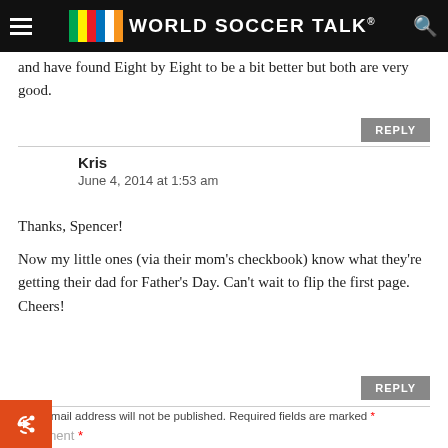WORLD SOCCER TALK
and have found Eight by Eight to be a bit better but both are very good.
REPLY
Kris
June 4, 2014 at 1:53 am
Thanks, Spencer!
Now my little ones (via their mom's checkbook) know what they're getting their dad for Father's Day. Can't wait to flip the first page. Cheers!
REPLY
Your email address will not be published. Required fields are marked *
Comment *